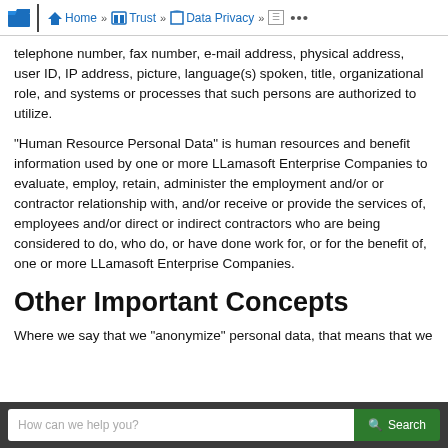Home » Trust » Data Privacy »
telephone number, fax number, e-mail address, physical address, user ID, IP address, picture, language(s) spoken, title, organizational role, and systems or processes that such persons are authorized to utilize.
“Human Resource Personal Data” is human resources and benefit information used by one or more LLamasoft Enterprise Companies to evaluate, employ, retain, administer the employment and/or or contractor relationship with, and/or receive or provide the services of, employees and/or direct or indirect contractors who are being considered to do, who do, or have done work for, or for the benefit of, one or more LLamasoft Enterprise Companies.
Other Important Concepts
Where we say that we “anonymize” personal data, that means that we